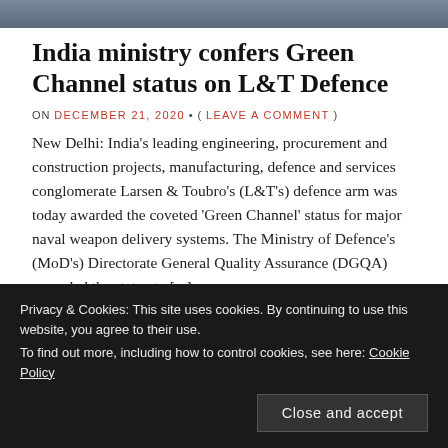[Figure (photo): Photographic banner image at top of page (partial crop of a scene, appears military/outdoor)]
India ministry confers Green Channel status on L&T Defence
ON DECEMBER 21, 2020 • ( LEAVE A COMMENT )
New Delhi: India's leading engineering, procurement and construction projects, manufacturing, defence and services conglomerate Larsen & Toubro's (L&T's) defence arm was today awarded the coveted 'Green Channel' status for major naval weapon delivery systems. The Ministry of Defence's (MoD's) Directorate General Quality Assurance (DGQA) accorded the status to [...]
Privacy & Cookies: This site uses cookies. By continuing to use this website, you agree to their use.
To find out more, including how to control cookies, see here: Cookie Policy